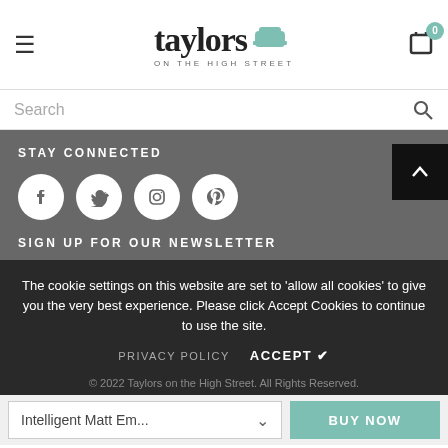taylors ON THE HIGH STREET — 0 cart
Search
STAY CONNECTED
[Figure (illustration): Four social media icon circles: Facebook, Twitter, Instagram, Pinterest]
SIGN UP FOR OUR NEWSLETTER
The cookie settings on this website are set to 'allow all cookies' to give you the very best experience. Please click Accept Cookies to continue to use the site.
PRIVACY POLICY   ACCEPT ✔
© 2022 Taylors on the High Street. All Rights Reserved.
Intelligent Matt Em...   BUY NOW